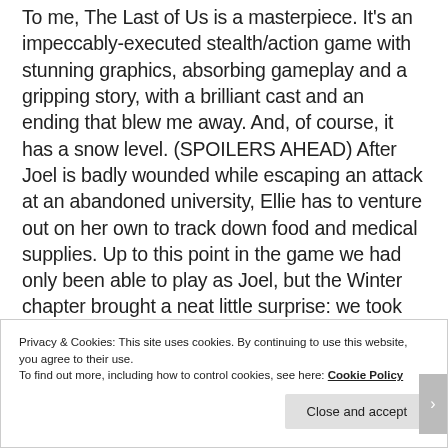To me, The Last of Us is a masterpiece. It's an impeccably-executed stealth/action game with stunning graphics, absorbing gameplay and a gripping story, with a brilliant cast and an ending that blew me away. And, of course, it has a snow level. (SPOILERS AHEAD) After Joel is badly wounded while escaping an attack at an abandoned university, Ellie has to venture out on her own to track down food and medical supplies. Up to this point in the game we had only been able to play as Joel, but the Winter chapter brought a neat little surprise: we took control of Ellie, not Joel, as she hunted a deer through a
Privacy & Cookies: This site uses cookies. By continuing to use this website, you agree to their use. To find out more, including how to control cookies, see here: Cookie Policy